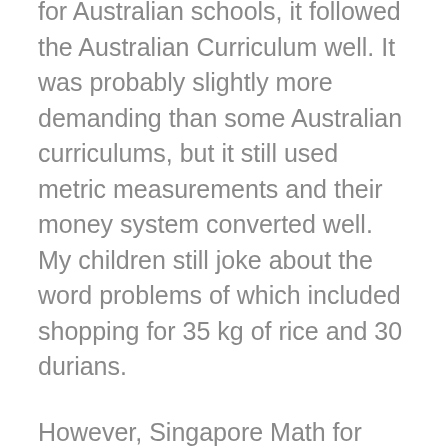for Australian schools, it followed the Australian Curriculum well. It was probably slightly more demanding than some Australian curriculums, but it still used metric measurements and their money system converted well. My children still joke about the word problems of which included shopping for 35 kg of rice and 30 durians.
However, Singapore Math for high school is quite different in its layout to the primary program and it wasn't set out in a way that was as easy to understand.
Saxon Math, although American was my pick for a high school math textbook. It did